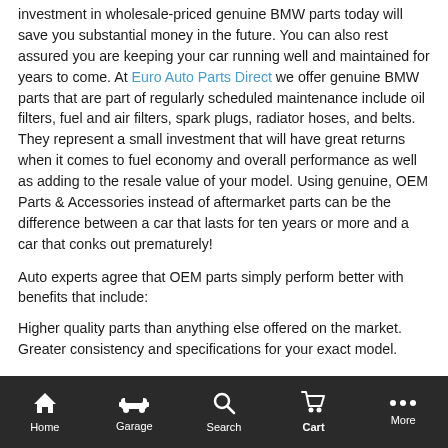investment in wholesale-priced genuine BMW parts today will save you substantial money in the future. You can also rest assured you are keeping your car running well and maintained for years to come. At Euro Auto Parts Direct we offer genuine BMW parts that are part of regularly scheduled maintenance include oil filters, fuel and air filters, spark plugs, radiator hoses, and belts. They represent a small investment that will have great returns when it comes to fuel economy and overall performance as well as adding to the resale value of your model. Using genuine, OEM Parts & Accessories instead of aftermarket parts can be the difference between a car that lasts for ten years or more and a car that conks out prematurely!
Auto experts agree that OEM parts simply perform better with benefits that include:
Higher quality parts than anything else offered on the market. Greater consistency and specifications for your exact model.
Home  Garage  Search  Cart  More